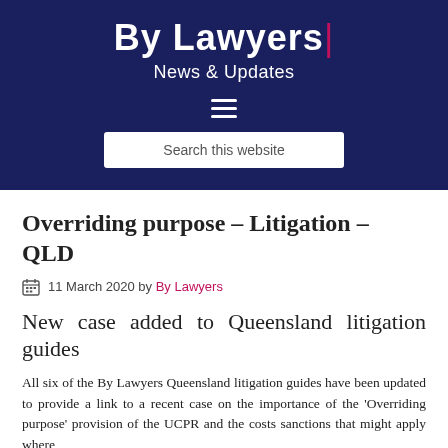By Lawyers | News & Updates
Overriding purpose – Litigation – QLD
11 March 2020 by By Lawyers
New case added to Queensland litigation guides
All six of the By Lawyers Queensland litigation guides have been updated to provide a link to a recent case on the importance of the 'Overriding purpose' provision of the UCPR and the costs sanctions that might apply where